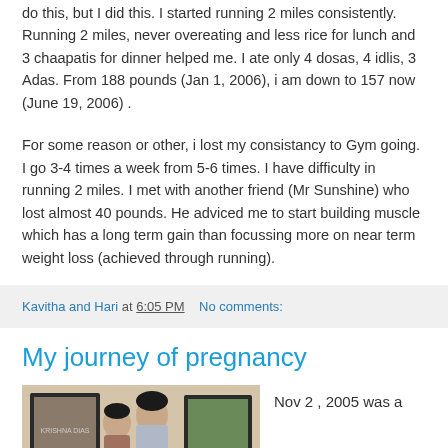do this, but I did this. I started running 2 miles consistently. Running 2 miles, never overeating and less rice for lunch and 3 chaapatis for dinner helped me. I ate only 4 dosas, 4 idlis, 3 Adas. From 188 pounds (Jan 1, 2006), i am down to 157 now (June 19, 2006) .
For some reason or other, i lost my consistancy to Gym going. I go 3-4 times a week from 5-6 times. I have difficulty in running 2 miles. I met with another friend (Mr Sunshine) who lost almost 40 pounds. He adviced me to start building muscle which has a long term gain than focussing more on near term weight loss (achieved through running).
Kavitha and Hari at 6:05 PM    No comments:
My journey of pregnancy
[Figure (photo): A photo of a couple standing together indoors, with framed pictures on the wall behind them.]
Nov 2 , 2005 was a